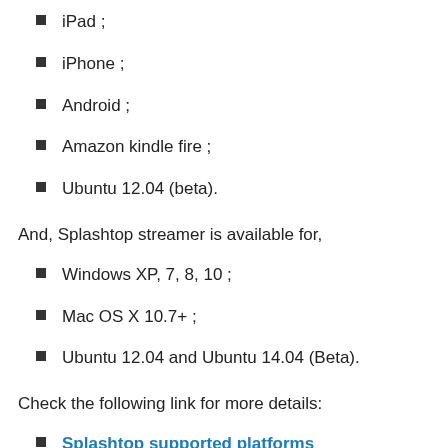iPad ;
iPhone ;
Android ;
Amazon kindle fire ;
Ubuntu 12.04 (beta).
And, Splashtop streamer is available for,
Windows XP, 7, 8, 10 ;
Mac OS X 10.7+ ;
Ubuntu 12.04 and Ubuntu 14.04 (Beta).
Check the following link for more details:
Splashtop supported platforms
Splashtop is available as two versions: